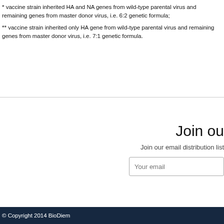* vaccine strain inherited HA and NA genes from wild-type parental virus and remaining genes from master donor virus, i.e. 6:2 genetic formula;
** vaccine strain inherited only HA gene from wild-type parental virus and remaining genes from master donor virus, i.e. 7:1 genetic formula.
Join ou
Join our email distribution list
© Copyright 2014 BioDiem